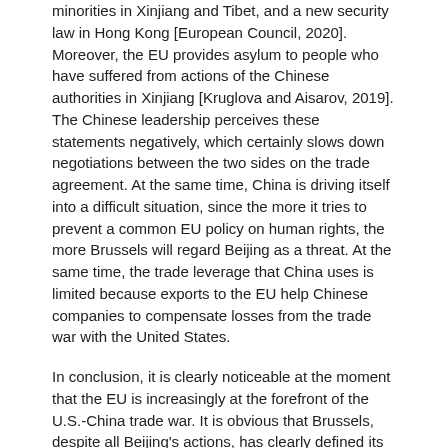minorities in Xinjiang and Tibet, and a new security law in Hong Kong [European Council, 2020]. Moreover, the EU provides asylum to people who have suffered from actions of the Chinese authorities in Xinjiang [Kruglova and Aisarov, 2019]. The Chinese leadership perceives these statements negatively, which certainly slows down negotiations between the two sides on the trade agreement. At the same time, China is driving itself into a difficult situation, since the more it tries to prevent a common EU policy on human rights, the more Brussels will regard Beijing as a threat. At the same time, the trade leverage that China uses is limited because exports to the EU help Chinese companies to compensate losses from the trade war with the United States.
In conclusion, it is clearly noticeable at the moment that the EU is increasingly at the forefront of the U.S.-China trade war. It is obvious that Brussels, despite all Beijing's actions, has clearly defined its values, which have key importance for the EU. Under these conditions, it is difficult to predict how relations between China and the EU will develop because the ambitions of the Chinese leadership will prevent it from both making concessions in internal affairs and softening its policy towards Brussels. The parties agreed that as soon as the epidemiological situation allows a full-fledged offline summit will be held. However, we should not wait for any breakthrough since, apparently, the parties